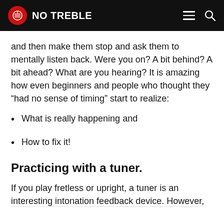NO TREBLE
and then make them stop and ask them to mentally listen back. Were you on? A bit behind? A bit ahead? What are you hearing? It is amazing how even beginners and people who thought they “had no sense of timing” start to realize:
What is really happening and
How to fix it!
Practicing with a tuner.
If you play fretless or upright, a tuner is an interesting intonation feedback device. However,